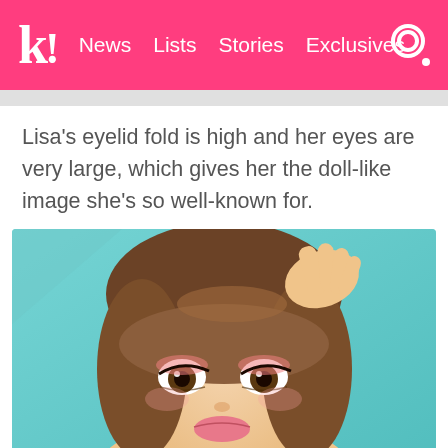k! News Lists Stories Exclusives
Lisa's eyelid fold is high and her eyes are very large, which gives her the doll-like image she's so well-known for.
[Figure (photo): Close-up portrait of Lisa (BLACKPINK member) with brown bangs, large doll-like eyes with pink and black eyeliner makeup, on a teal/turquoise background, hand raised to her head.]